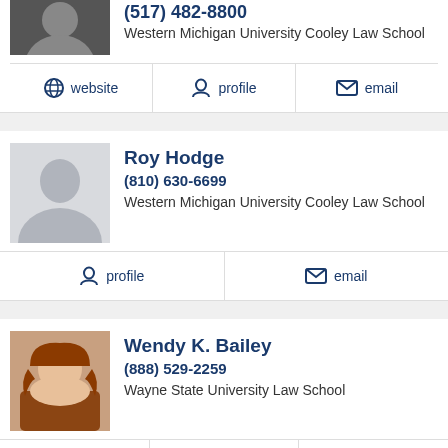(517) 482-8800
Western Michigan University Cooley Law School
website | profile | email
Roy Hodge
(810) 630-6699
Western Michigan University Cooley Law School
profile | email
Wendy K. Bailey
(888) 529-2259
Wayne State University Law School
website | profile | email